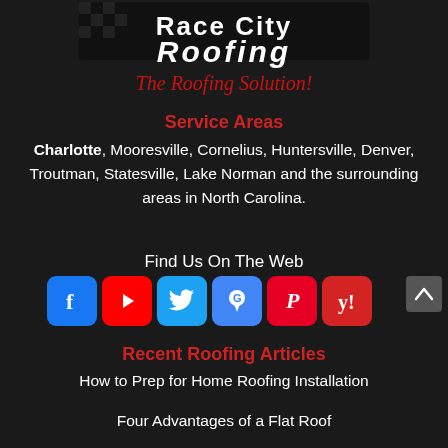[Figure (logo): Race City Roofing logo with checkered flag pattern and italic red tagline 'The Roofing Solution!']
Service Areas
Charlotte, Mooresville, Cornelius, Huntersville, Denver, Troutman, Statesville, Lake Norman and the surrounding areas in North Carolina.
Find Us On The Web
[Figure (infographic): Social media icons: Facebook, YouTube, Twitter, Google Maps, Pinterest, Yelp]
Recent Roofing Articles
How to Prep for Home Roofing Installation
Four Advantages of a Flat Roof